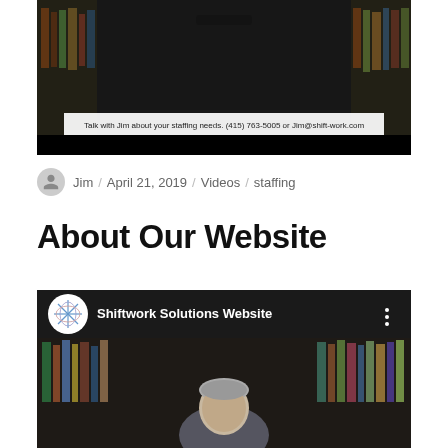[Figure (screenshot): Video thumbnail showing a man in a dark shirt seated in front of bookshelves, with a caption bar reading: Talk with Jim about your staffing needs. (415) 763-5005 or Jim@shift-work.com]
Jim / April 21, 2019 / Videos / staffing
About Our Website
[Figure (screenshot): YouTube video embed showing Shiftwork Solutions Website channel header with logo, and a man seated in front of bookshelves in the video frame below]